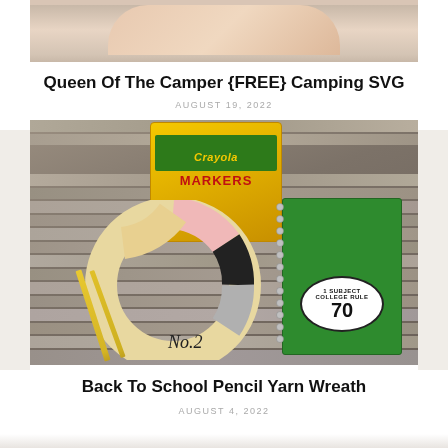[Figure (photo): Partial photo showing hands/person, cropped at top of page]
Queen Of The Camper {FREE} Camping SVG
AUGUST 19, 2022
[Figure (photo): Photo of a back-to-school pencil yarn wreath on a wood surface, with Crayola markers box, yellow pencils, and a green spiral notebook]
Back To School Pencil Yarn Wreath
AUGUST 4, 2022